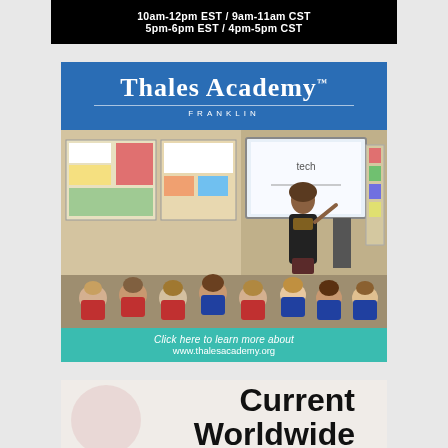[Figure (infographic): Black banner with white bold text: '10am-12pm EST / 9am-11am CST' and '5pm-6pm EST / 4pm-5pm CST']
[Figure (infographic): Thales Academy Franklin advertisement with blue header showing school name, classroom photo of teacher pointing at whiteboard with children seated on floor, and teal footer reading 'Click here to learn more about www.thalesacademy.org']
[Figure (infographic): Partial view of banner with text 'Current Worldwide' in large bold black font on light background]